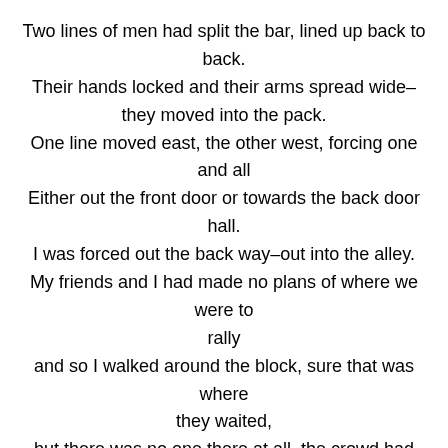Two lines of men had split the bar, lined up back to back.
Their hands locked and their arms spread wide–
they moved into the pack.
One line moved east, the other west, forcing one and all
Either out the front door or towards the back door hall.
I was forced out the back way–out into the alley.
My friends and I had made no plans of where we were to rally

and so I walked around the block, sure that was where they waited,
but there was no one there at all–the crowd had soon abated.
I went back to the alleyway to see if they were there.
but all was dark and still, and soon I began to fear
that both carloads of friends had thought I was with the